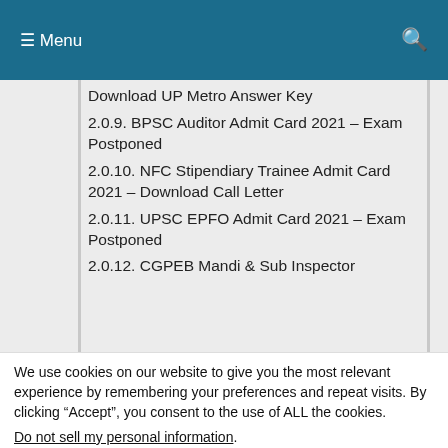☰ Menu  🔍
Download UP Metro Answer Key
2.0.9. BPSC Auditor Admit Card 2021 – Exam Postponed
2.0.10. NFC Stipendiary Trainee Admit Card 2021 – Download Call Letter
2.0.11. UPSC EPFO Admit Card 2021 – Exam Postponed
2.0.12. CGPEB Mandi & Sub Inspector
We use cookies on our website to give you the most relevant experience by remembering your preferences and repeat visits. By clicking "Accept", you consent to the use of ALL the cookies.
Do not sell my personal information.
Cookie Settings  Accept